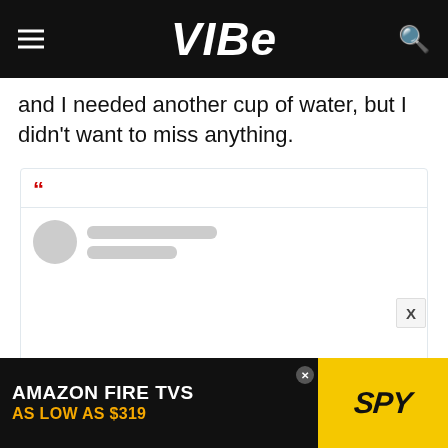VIBE
and I needed another cup of water, but I didn't want to miss anything.
[Figure (screenshot): Embedded social media card with red quotation mark and a loading placeholder showing a circular avatar and two grey content lines.]
[Figure (other): Advertisement banner: AMAZON FIRE TVS AS LOW AS $319, SPY logo on yellow background.]